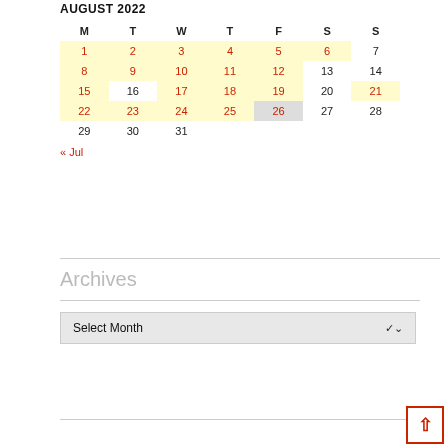AUGUST 2022
| M | T | W | T | F | S | S |
| --- | --- | --- | --- | --- | --- | --- |
| 1 | 2 | 3 | 4 | 5 | 6 | 7 |
| 8 | 9 | 10 | 11 | 12 | 13 | 14 |
| 15 | 16 | 17 | 18 | 19 | 20 | 21 |
| 22 | 23 | 24 | 25 | 26 | 27 | 28 |
| 29 | 30 | 31 |  |  |  |  |
« Jul
Archives
Select Month